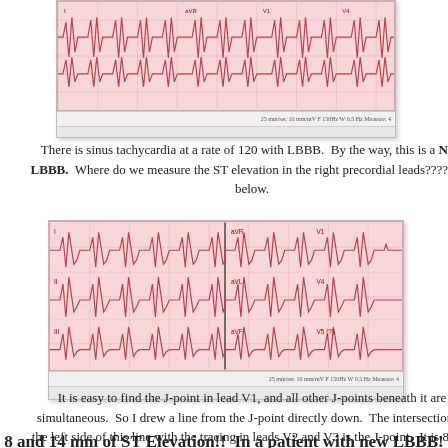[Figure (other): ECG/EKG strip showing sinus tachycardia with LBBB, pink graph paper background, 12-lead tracing]
There is sinus tachycardia at a rate of 120 with LBBB.  By the way, this is a New LBBB.  Where do we measure the ST elevation in the right precordial leads????  See below.
[Figure (other): Second ECG/EKG strip showing J-point markings in leads V1, V2, V3 with a vertical reference line drawn from J-point in V1]
It is easy to find the J-point in lead V1, and all other J-points beneath it are simultaneous.  So I drew a line from the J-point directly down.  The intersection of the left side of this line with the tracing in leads V2 and V3 is the J-point.  It is 8 mm in V2 and 14 mm in V3.
8 and 14 mm of ST Elevation!!  In a patient with new LBBB!